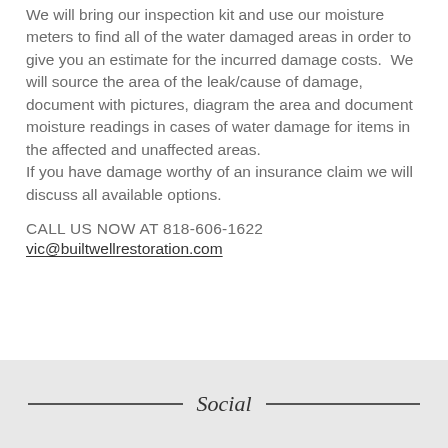We will bring our inspection kit and use our moisture meters to find all of the water damaged areas in order to give you an estimate for the incurred damage costs.  We will source the area of the leak/cause of damage, document with pictures, diagram the area and document moisture readings in cases of water damage for items in the affected and unaffected areas. If you have damage worthy of an insurance claim we will discuss all available options.
CALL US NOW AT 818-606-1622
vic@builtwellrestoration.com
Social